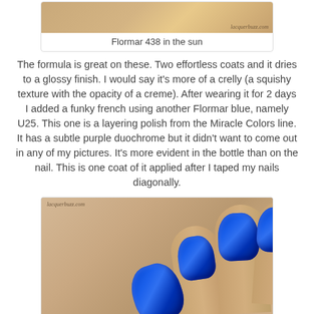[Figure (photo): Photo of nails painted with Flormar 438 in the sun, with watermark lacquerbuzz.com]
Flormar 438 in the sun
The formula is great on these. Two effortless coats and it dries to a glossy finish. I would say it's more of a crelly (a squishy texture with the opacity of a creme). After wearing it for 2 days I added a funky french using another Flormar blue, namely U25. This one is a layering polish from the Miracle Colors line. It has a subtle purple duochrome but it didn't want to come out in any of my pictures. It's more evident in the bottle than on the nail. This is one coat of it applied after I taped my nails diagonally.
[Figure (photo): Close-up photo of hand with nails painted in deep blue (Flormar U25), showing glossy blue nail polish with subtle shimmer. Watermark lacquerbuzz.com visible in top left.]